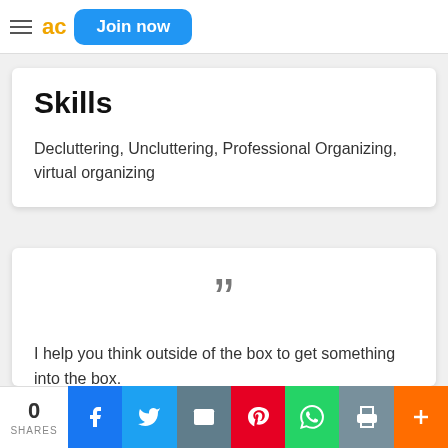ac Join now
Skills
Decluttering, Uncluttering, Professional Organizing, virtual organizing
I help you think outside of the box to get something into the box.
0 SHARES | Facebook | Twitter | Email | Pinterest | WhatsApp | Print | +